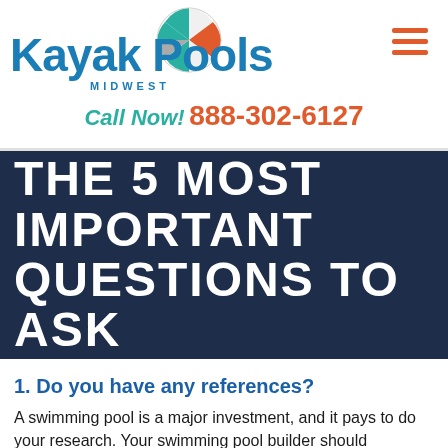[Figure (logo): Kayak Pools Midwest logo with beach ball graphic and blue cursive text]
Call Now! 888-302-6127
THE 5 MOST IMPORTANT QUESTIONS TO ASK
1. Do you have any references?
A swimming pool is a major investment, and it pays to do your research. Your swimming pool builder should